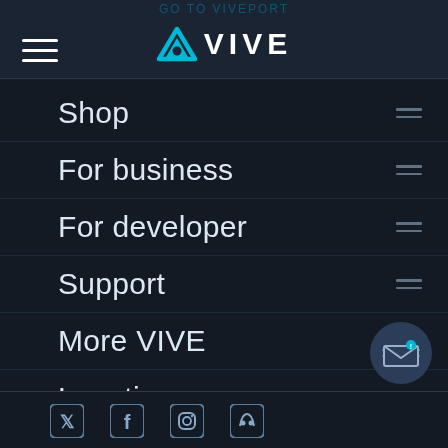GO TO VIVEPORT
[Figure (logo): VIVE logo with cyan triangle/diamond icon and VIVE text in white]
Shop
For business
For developer
Support
More VIVE
Location
[Figure (illustration): Chat/notification button with envelope icon]
[Figure (illustration): Social media icons: Twitter, Facebook, Instagram, Discord]